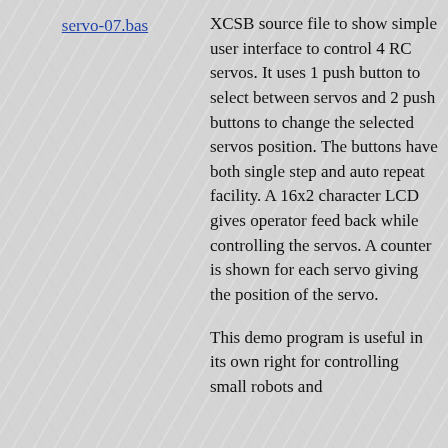servo-07.bas
XCSB source file to show simple user interface to control 4 RC servos. It uses 1 push button to select between servos and 2 push buttons to change the selected servos position. The buttons have both single step and auto repeat facility. A 16x2 character LCD gives operator feed back while controlling the servos. A counter is shown for each servo giving the position of the servo.
This demo program is useful in its own right for controlling small robots and